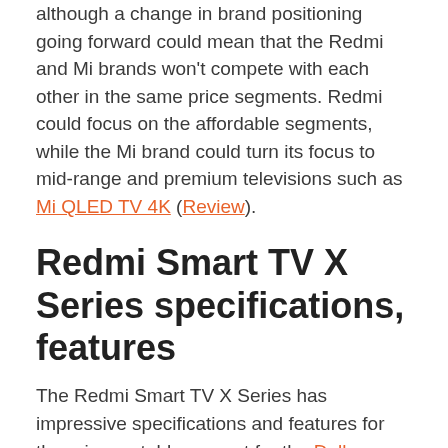although a change in brand positioning going forward could mean that the Redmi and Mi brands won't compete with each other in the same price segments. Redmi could focus on the affordable segments, while the Mi brand could turn its focus to mid-range and premium televisions such as Mi QLED TV 4K (Review).
Redmi Smart TV X Series specifications, features
The Redmi Smart TV X Series has impressive specifications and features for the price, notably support for the Dolby Vision and HDR10+ formats for high dynamic range content. The TV also touts Reality Flow and Vivid Picture Engine as features meant to improve the viewing experience. Various sound formats are also supported, including Dolby Audio for the inbuilt speakers, Dolby Atmos pass-through over eARC,